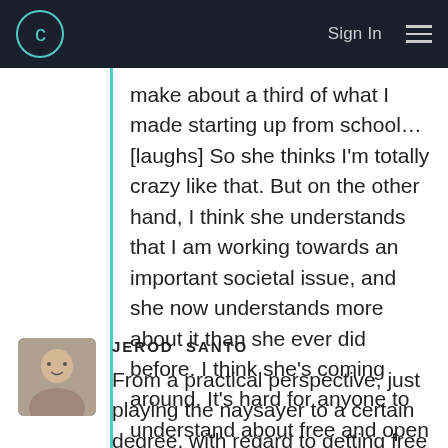C | Sign In ≡
make about a third of what I made starting up from school… [laughs] So she thinks I'm totally crazy like that. But on the other hand, I think she understands that I am working towards an important societal issue, and she now understands more about it than she ever did before. I think she's coming around. It's hard for anyone to understand about free and open source software. Now that I've been doing it for about ten years, she's starting to get it… [laughs]
JEROD SANTO
From a practical perspective, just playing the naysayer to a certain degree, with regard to getting free and open source software to be